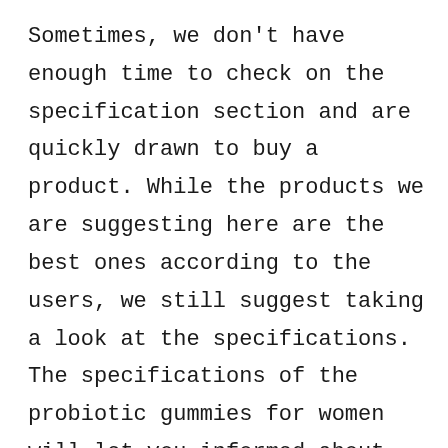Sometimes, we don't have enough time to check on the specification section and are quickly drawn to buy a product. While the products we are suggesting here are the best ones according to the users, we still suggest taking a look at the specifications. The specifications of the probiotic gummies for women will let you informed about the uses and advantages of using the products. You can then determine if that can fulfill the purpose of your needs.